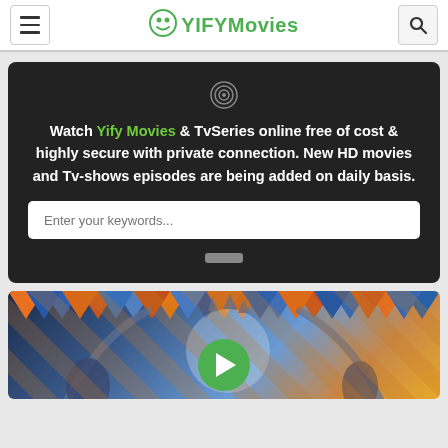YIFYMovies - navigation header with menu and search icons
Watch Yify Movies & TvSeries online free of cost & highly secure with private connection. New HD movies and Tv-shows episodes are being added on daily basis.
[Figure (screenshot): Search input box with placeholder text 'Enter your keywords...' on dark background, with a small button below]
[Figure (screenshot): Movie thumbnail image showing fantasy/animated artwork with chains and a green play button overlay in the center]